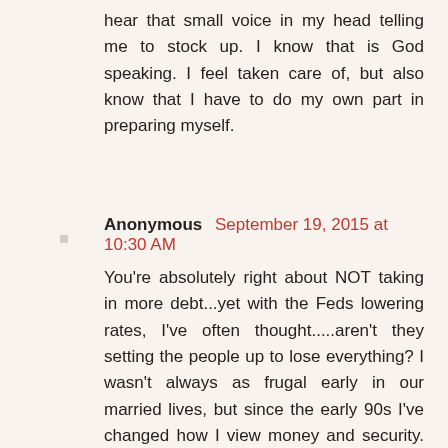hear that small voice in my head telling me to stock up. I know that is God speaking. I feel taken care of, but also know that I have to do my own part in preparing myself.
Anonymous September 19, 2015 at 10:30 AM
You're absolutely right about NOT taking in more debt...yet with the Feds lowering rates, I've often thought.....aren't they setting the people up to lose everything? I wasn't always as frugal early in our married lives, but since the early 90s I've changed how I view money and security. Maybe back then I was concerned about our retirement, and being self employed forces one to be more disciplined, but since the 2008 recession I no longer think it's going to be a plain vanilla downturn. I am not sure, but it seems more is at stake and trillions could be lost if we do have an ordinary recession, which can then snowball into a collapse. I've heard about 400 trillion in derivatives, but that number back in the 2000s